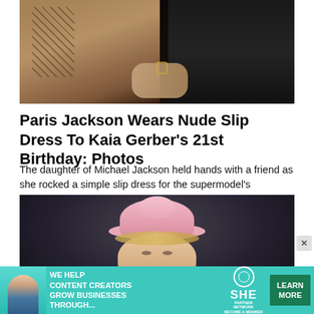[Figure (photo): Two people holding hands at an event; one has visible tattoos and wears a nude/beige slip dress, the other wears a black sheer outfit]
Paris Jackson Wears Nude Slip Dress To Kaia Gerber’s 21st Birthday: Photos
The daughter of Michael Jackson held hands with a friend as she rocked a simple slip dress for the supermodel's birthday…
[Figure (photo): Woman wearing a pink sculptural hat/fascinator, with blonde hair pulled back, against a dark background]
[Figure (infographic): Advertisement banner: 'We Help Content Creators Grow Businesses Through...' with SHE Partner Network logo and 'Learn More' button]